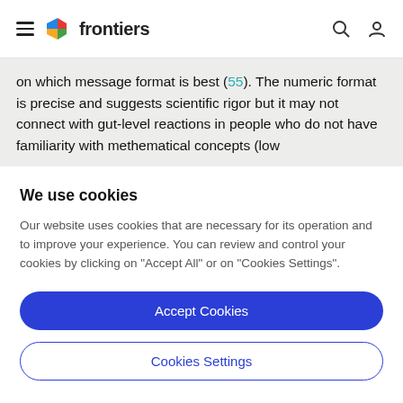frontiers
on which message format is best (55). The numeric format is precise and suggests scientific rigor but it may not connect with gut-level reactions in people who do not have familiarity with methematical concepts (low
We use cookies
Our website uses cookies that are necessary for its operation and to improve your experience. You can review and control your cookies by clicking on "Accept All" or on "Cookies Settings".
Accept Cookies
Cookies Settings